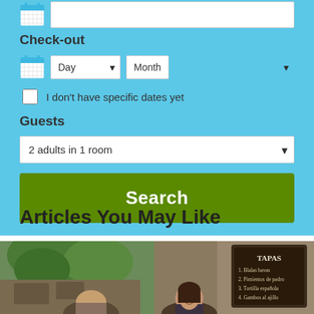Check-out
[Figure (screenshot): Booking form with Check-out date selectors (Day dropdown, Month dropdown), a checkbox for 'I don't have specific dates yet', a Guests dropdown showing '2 adults in 1 room', and a green Search button]
Articles You May Like
[Figure (photo): Photo of two women sitting at an outdoor restaurant with a TAPAS chalkboard menu visible]